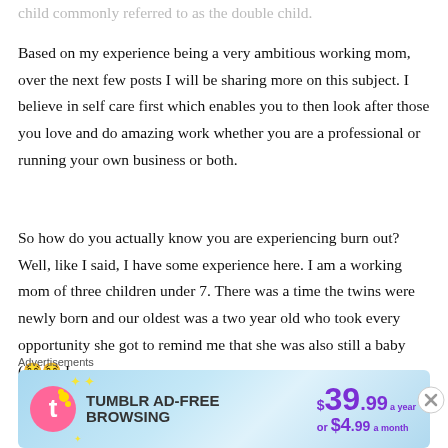child commonly referred to as the double child.
Based on my experience being a very ambitious working mom, over the next few posts I will be sharing more on this subject. I believe in self care first which enables you to then look after those you love and do amazing work whether you are a professional or running your own business or both.
So how do you actually know you are experiencing burn out? Well, like I said, I have some experience here. I am a working mom of three children under 7. There was a time the twins were newly born and our oldest was a two year old who took every opportunity she got to remind me that she was also still a baby (😂😂 I
[Figure (screenshot): Tumblr Ad-Free Browsing advertisement banner: $39.99 a year or $4.99 a month]